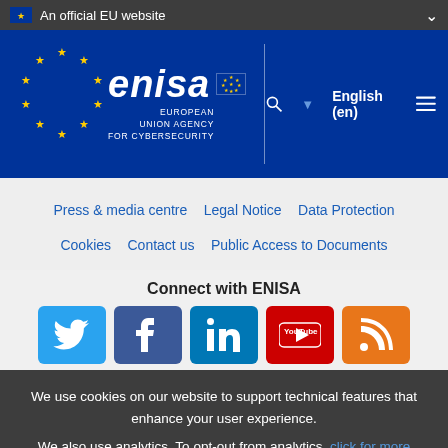An official EU website
[Figure (logo): ENISA logo with EU flag and stars circle, wordmark 'enisa' and text 'EUROPEAN UNION AGENCY FOR CYBERSECURITY']
English (en)
Press & media centre  Legal Notice  Data Protection  Cookies  Contact us  Public Access to Documents
Connect with ENISA
[Figure (infographic): Social media icons: Twitter, Facebook, LinkedIn, YouTube, RSS]
We use cookies on our website to support technical features that enhance your user experience. We also use analytics. To opt-out from analytics, click for more information.
I've read it  More information